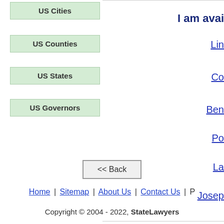US Cities
US Counties
US States
US Governors
I am avai
Lin
Co
Ben
Po
La
Josep
<< Back
Home | Sitemap | About Us | Contact Us | P
Copyright © 2004 - 2022, StateLawyers